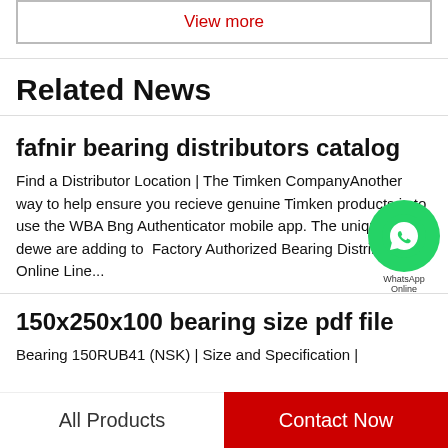View more
Related News
fafnir bearing distributors catalog
Find a Distributor Location | The Timken CompanyAnother way to help ensure you receive genuine Timken products is to use the WBA Bearing Authenticator mobile app. The unique QR code we are adding to  Factory Authorized Bearing Distributor Online Line...
150x250x100 bearing size pdf file
Bearing 150RUB41 (NSK) | Size and Specification | Bearing...
All Products   Contact Now